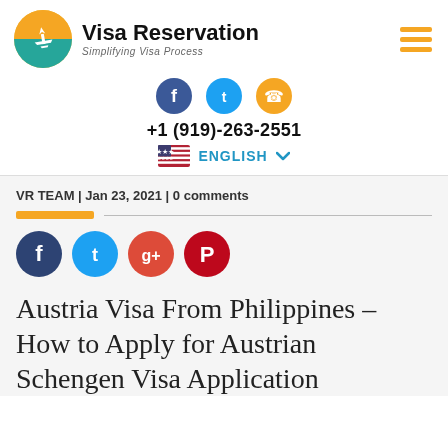[Figure (logo): Visa Reservation logo with airplane icon and text 'Visa Reservation - Simplifying Visa Process']
[Figure (infographic): Social media icons: Facebook (blue), Twitter (blue), WhatsApp (orange)]
+1 (919)-263-2551
[Figure (infographic): US flag icon with ENGLISH text and dropdown chevron]
VR TEAM | Jan 23, 2021 | 0 comments
[Figure (infographic): Share icons: Facebook (navy), Twitter (blue), Google+ (red), Pinterest (red)]
Austria Visa From Philippines – How to Apply for Austrian Schengen Visa Application From...